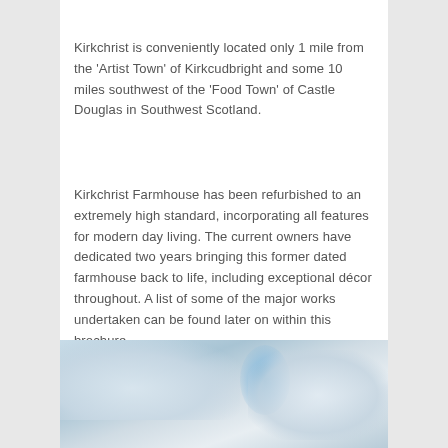Kirkchrist is conveniently located only 1 mile from the 'Artist Town' of Kirkcudbright and some 10 miles southwest of the 'Food Town' of Castle Douglas in Southwest Scotland.
Kirkchrist Farmhouse has been refurbished to an extremely high standard, incorporating all features for modern day living. The current owners have dedicated two years bringing this former dated farmhouse back to life, including exceptional décor throughout. A list of some of the major works undertaken can be found later on within this brochure.
[Figure (photo): Partial outdoor photo showing a sky with blue and grey cloud tones, likely an exterior or landscape shot related to the Kirkchrist property.]